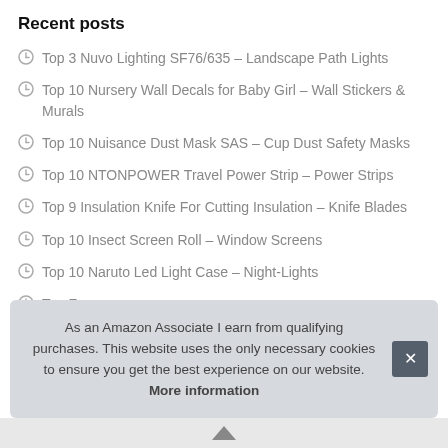Recent posts
Top 3 Nuvo Lighting SF76/635 – Landscape Path Lights
Top 10 Nursery Wall Decals for Baby Girl – Wall Stickers & Murals
Top 10 Nuisance Dust Mask SAS – Cup Dust Safety Masks
Top 10 NTONPOWER Travel Power Strip – Power Strips
Top 9 Insulation Knife For Cutting Insulation – Knife Blades
Top 10 Insect Screen Roll – Window Screens
Top 10 Naruto Led Light Case – Night-Lights
T… Fem…
As an Amazon Associate I earn from qualifying purchases. This website uses the only necessary cookies to ensure you get the best experience on our website. More information